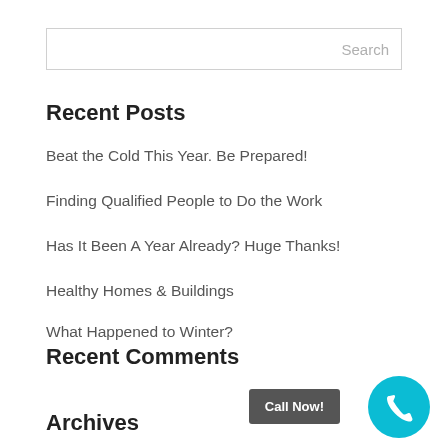Search
Recent Posts
Beat the Cold This Year. Be Prepared!
Finding Qualified People to Do the Work
Has It Been A Year Already? Huge Thanks!
Healthy Homes & Buildings
What Happened to Winter?
Recent Comments
Archives